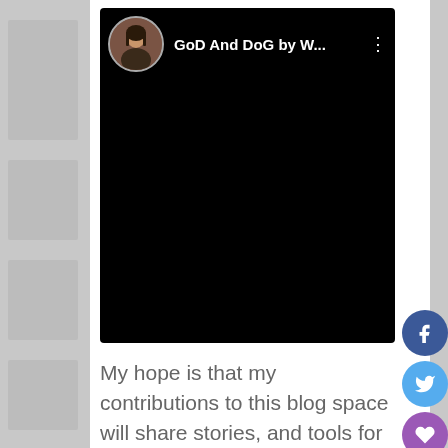[Figure (screenshot): Embedded video player showing YouTube-style video embed for 'GoD And DoG by W...' with a black video area, channel avatar (woman with dark hair), channel name, and three-dot menu icon]
My hope is that my contributions to this blog space will share stories, and tools for storytelling, to help us, as a Catholic